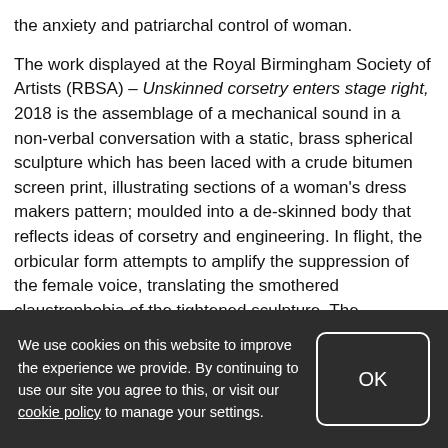the anxiety and patriarchal control of woman.
The work displayed at the Royal Birmingham Society of Artists (RBSA) – Unskinned corsetry enters stage right, 2018 is the assemblage of a mechanical sound in a non-verbal conversation with a static, brass spherical sculpture which has been laced with a crude bitumen screen print, illustrating sections of a woman's dress makers pattern; moulded into a de-skinned body that reflects ideas of corsetry and engineering. In flight, the orbicular form attempts to amplify the suppression of the female voice, translating the smothered claustrophobia of the tightened sculpture. The abstracted body is staged in the foreground with the sound echoing in the background, thus becoming the inner workings
We use cookies on this website to improve the experience we provide. By continuing to use our site you agree to this, or visit our cookie policy to manage your settings.